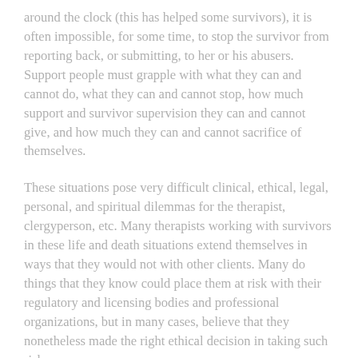around the clock (this has helped some survivors), it is often impossible, for some time, to stop the survivor from reporting back, or submitting, to her or his abusers. Support people must grapple with what they can and cannot do, what they can and cannot stop, how much support and survivor supervision they can and cannot give, and how much they can and cannot sacrifice of themselves.
These situations pose very difficult clinical, ethical, legal, personal, and spiritual dilemmas for the therapist, clergyperson, etc. Many therapists working with survivors in these life and death situations extend themselves in ways that they would not with other clients. Many do things that they know could place them at risk with their regulatory and licensing bodies and professional organizations, but in many cases, believe that they nonetheless made the right ethical decision in taking such risks.